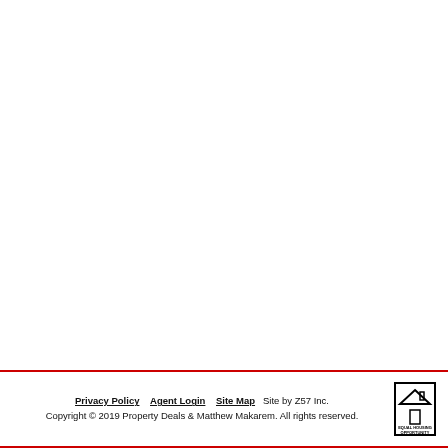Privacy Policy   Agent Login   Site Map   Site by Z57 Inc.
Copyright © 2019 Property Deals & Matthew Makarem. All rights reserved.